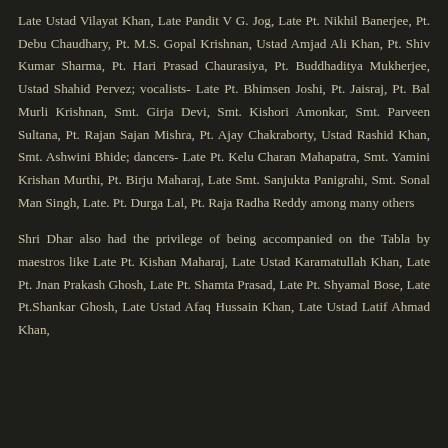Late Ustad Vilayat Khan, Late Pandit V G. Jog, Late Pt. Nikhil Banerjee, Pt. Debu Chaudhary, Pt. M.S. Gopal Krishnan, Ustad Amjad Ali Khan, Pt. Shiv Kumar Sharma, Pt. Hari Prasad Chaurasiya, Pt. Buddhaditya Mukherjee, Ustad Shahid Pervez; vocalists- Late Pt. Bhimsen Joshi, Pt. Jaisraj, Pt. Bal Murli Krishnan, Smt. Girja Devi, Smt. Kishori Amonkar, Smt. Parveen Sultana, Pt. Rajan Sajan Mishra, Pt. Ajay Chakraborty, Ustad Rashid Khan, Smt. Ashwini Bhide; dancers- Late Pt. Kelu Charan Mahapatra, Smt. Yamini Krishan Murthi, Pt. Birju Maharaj, Late Smt. Sanjukta Panigrahi, Smt. Sonal Man Singh, Late. Pt. Durga Lal, Pt. Raja Radha Reddy among many others
Shri Dhar also had the privilege of being accompanied on the Tabla by maestros like Late Pt. Kishan Maharaj, Late Ustad Karamatullah Khan, Late Pt. Jnan Prakash Ghosh, Late Pt. Shamta Prasad, Late Pt. Shyamal Bose, Late Pt.Shankar Ghosh, Late Ustad Afaq Hussain Khan, Late Ustad Latif Ahmad Khan,